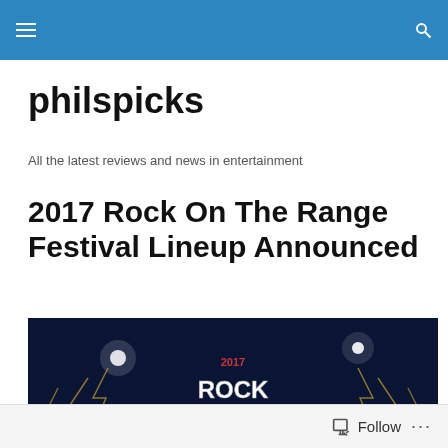philspicks navigation header
philspicks
All the latest reviews and news in entertainment
2017 Rock On The Range Festival Lineup Announced
[Figure (photo): Rock on the Range 2017 festival promotional banner/logo image on dark blue background with lightning bolt graphics and stylized text reading 'Rock on the Range']
Follow ...